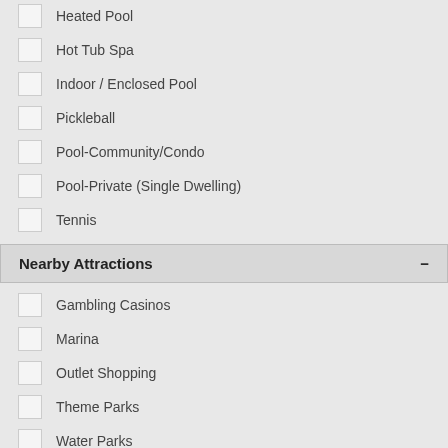Heated Pool
Hot Tub Spa
Indoor / Enclosed Pool
Pickleball
Pool-Community/Condo
Pool-Private (Single Dwelling)
Tennis
Nearby Attractions
Gambling Casinos
Marina
Outlet Shopping
Theme Parks
Water Parks
Does Advertising on AlaVHR Really Work? Ask our owners!
[Figure (illustration): Green banner with bold white text reading 'Have a Question?']